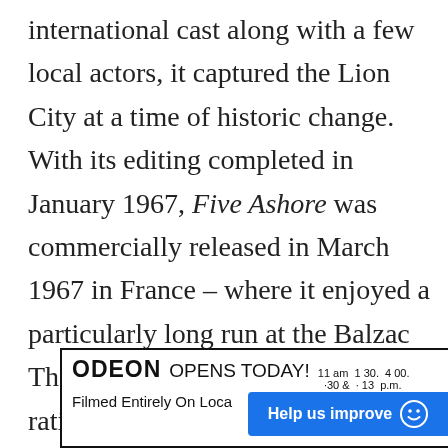international cast along with a few local actors, it captured the Lion City at a time of historic change. With its editing completed in January 1967, Five Ashore was commercially released in March 1967 in France – where it enjoyed a particularly long run at the Balzac Theatre in Paris – with a PG-13 rating. The film was subsequently released in Europe and North America where it was shown in cinemas right into the beginning of 1968.
[Figure (photo): Partial newspaper or cinema advertisement clipping showing 'ODEON OPENS TODAY!' with showtime listings '11 am 1:30 4:00' and text 'Filmed Entirely On Loca[tion]'. A blue 'Help us improve' badge with smiley face overlays the bottom-right of the image.]